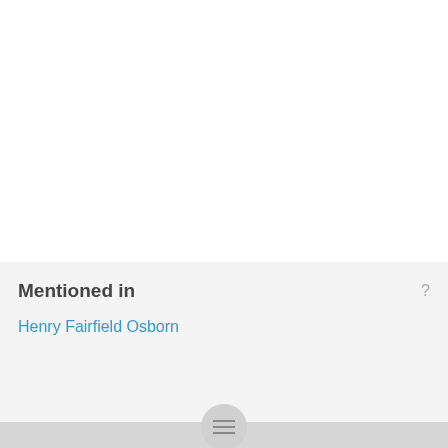Mentioned in
Henry Fairfield Osborn